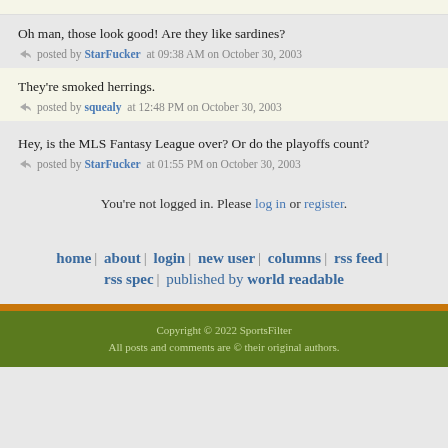Oh man, those look good! Are they like sardines?
posted by StarFucker at 09:38 AM on October 30, 2003
They're smoked herrings.
posted by squealy at 12:48 PM on October 30, 2003
Hey, is the MLS Fantasy League over? Or do the playoffs count?
posted by StarFucker at 01:55 PM on October 30, 2003
You're not logged in. Please log in or register.
home | about | login | new user | columns | rss feed | rss spec | published by world readable
Copyright © 2022 SportsFilter
All posts and comments are © their original authors.